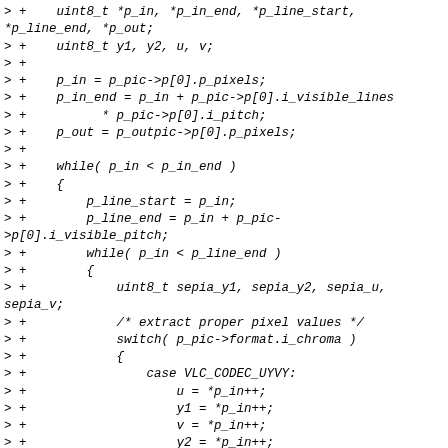> +    uint8_t *p_in, *p_in_end, *p_line_start,
*p_line_end, *p_out;
> +    uint8_t y1, y2, u, v;
> +
> +    p_in = p_pic->p[0].p_pixels;
> +    p_in_end = p_in + p_pic->p[0].i_visible_lines
> +          * p_pic->p[0].i_pitch;
> +    p_out = p_outpic->p[0].p_pixels;
> +
> +    while( p_in < p_in_end )
> +    {
> +        p_line_start = p_in;
> +        p_line_end = p_in + p_pic-
>p[0].i_visible_pitch;
> +        while( p_in < p_line_end )
> +        {
> +            uint8_t sepia_y1, sepia_y2, sepia_u,
sepia_v;
> +            /* extract proper pixel values */
> +            switch( p_pic->format.i_chroma )
> +            {
> +                case VLC_CODEC_UYVY:
> +                    u = *p_in++;
> +                    y1 = *p_in++;
> +                    v = *p_in++;
> +                    y2 = *p_in++;
> +                    break;
> +                case VLC_CODEC_VYUY:
> +                    v = *p_in++;
> +                    y1 = *p_in++;